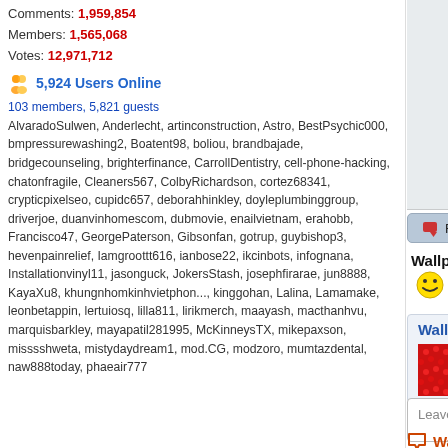Comments: 1,959,854
Members: 1,565,068
Votes: 12,971,712
5,924 Users Online
103 members, 5,821 guests
AlvaradoSulwen, Anderlecht, artinconstruction, Astro, BestPsychic000, bmpressurewashing2, Boatent98, boliou, brandbajade, bridgecounseling, brighterfinance, CarrollDentistry, cell-phone-hacking, chatonfragile, Cleaners567, ColbyRichardson, cortez68341, crypticpixelseo, cupidc657, deborahhinkley, doyleplumbinggroup, driverjoe, duanvinhomescom, dubmovie, enailvietnam, erahobb, Francisco47, GeorgePaterson, Gibsonfan, gotrup, guybishop3, hevenpainrelief, Iamgroottt616, ianbose22, ikcinbots, infognana, Installationvinyl11, jasonguck, JokersStash, josephfirarae, jun8888, KayaXu8, khungnhomkinhvietphon..., kinggohan, Lalina, Lamamake, leonbetappin, lertuiosq, lilla811, lirikmerch, maayash, macthanhvu, marquisbarkley, mayapatil281995, McKinneysTX, mikepaxson, misssshweta, mistydaydream1, mod.CG, modzoro, mumtazdental, naw888today, phaeair777
[Figure (photo): Wallpaper image showing white/silver elegant items — appears to be jewelry or glassware on white background]
Report This Wallpaper
Add To F
Wallpaper Description:
[Figure (other): Three smiley face emoji icons]
Wallpaper Groups
[Figure (photo): Red candy/berry texture thumbnail for Sweet Tooths group]
Sweet Tooths
4,270  132  2
Leave a comment...
Wallpaper Comments (8)
Posted by Pheobe on 03/04/13 at 05:05